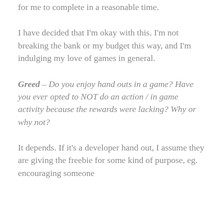for me to complete in a reasonable time.
I have decided that I'm okay with this. I'm not breaking the bank or my budget this way, and I'm indulging my love of games in general.
Greed – Do you enjoy hand outs in a game? Have you ever opted to NOT do an action / in game activity because the rewards were lacking? Why or why not?
It depends. If it's a developer hand out, I assume they are giving the freebie for some kind of purpose, eg. encouraging someone